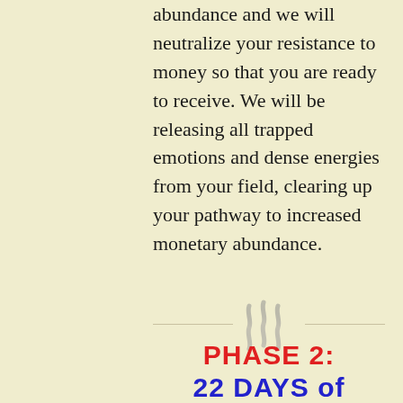abundance and we will neutralize your resistance to money so that you are ready to receive. We will be releasing all trapped emotions and dense energies from your field, clearing up your pathway to increased monetary abundance.
[Figure (illustration): Decorative divider with double chevron/heat wave symbol centered between two horizontal lines]
PHASE 2: 22 DAYS of